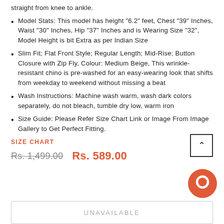straight from knee to ankle.
Model Stats: This model has height "6.2" feet, Chest "39" Inches, Waist "30" Inches, Hip "37" Inches and is Wearing Size "32", Model Height is bit Extra as per Indian Size
Slim Fit; Flat Front Style; Regular Length; Mid-Rise; Button Closure with Zip Fly, Colour: Medium Beige, This wrinkle-resistant chino is pre-washed for an easy-wearing look that shifts from weekday to weekend without missing a beat
Wash Instructions: Machine wash warm, wash dark colors separately, do not bleach, tumble dry low, warm iron
Size Guide: Please Refer Size Chart Link or Image From Image Gallery to Get Perfect Fitting.
SIZE CHART
Rs. 1,499.00   Rs. 589.00
UNAVAILABLE